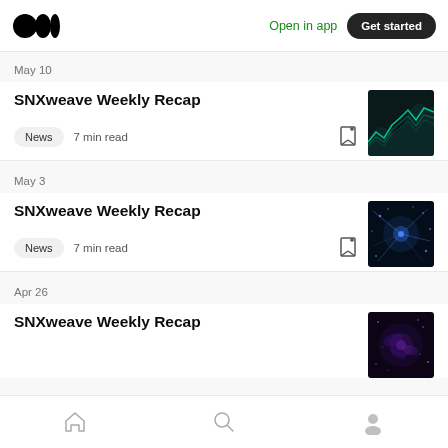Medium logo | Open in app | Get started
May 10
SNXweave Weekly Recap
News  7 min read
[Figure (photo): Dark teal/green stock market chart lines on dark background]
May 3
SNXweave Weekly Recap
News  7 min read
[Figure (photo): Blue particle/light burst abstract on dark background]
Apr 26
SNXweave Weekly Recap
[Figure (photo): Purple/violet abstract nebula on dark background]
Home | Search | Profile